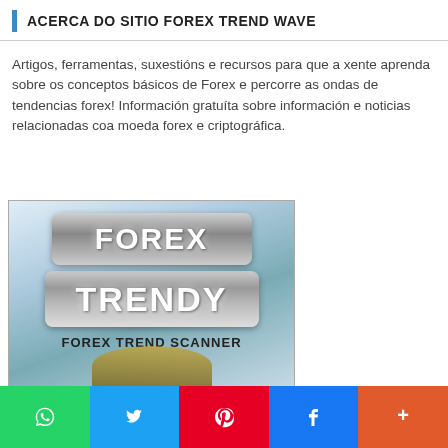ACERCA DO SITIO FOREX TREND WAVE
Artigos, ferramentas, suxestións e recursos para que a xente aprenda sobre os conceptos básicos de Forex e percorre as ondas de tendencias forex! Información gratuíta sobre información e noticias relacionadas coa moeda forex e criptográfica.
[Figure (illustration): Forex Trendy advertisement banner showing stylized silver metallic 'FOREX' badge, 'TRENDY' badge, and 'FOREX TREND SCANNER' text, with financial/city background and golden bull figurine at bottom]
[Figure (infographic): Social sharing bar with WhatsApp (green), Twitter (blue), Pinterest (red), Facebook (blue), and More (+) (orange-red) buttons]